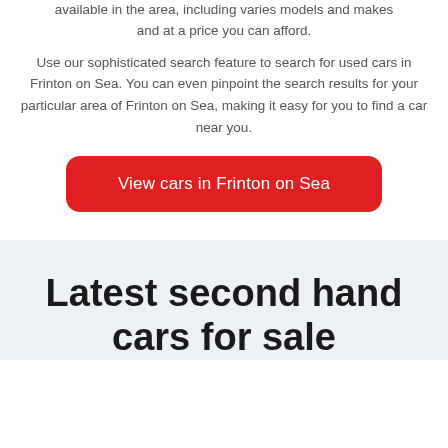available in the area, including varies models and makes and at a price you can afford.
Use our sophisticated search feature to search for used cars in Frinton on Sea. You can even pinpoint the search results for your particular area of Frinton on Sea, making it easy for you to find a car near you.
View cars in Frinton on Sea
Latest second hand cars for sale